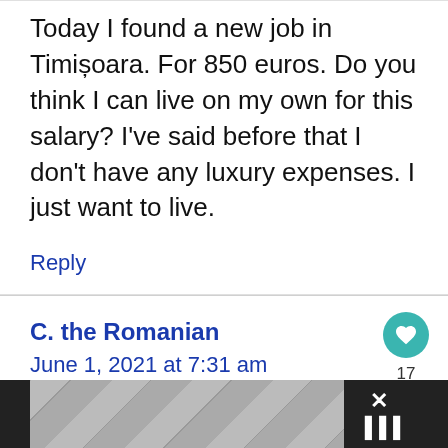Today I found a new job in Timișoara. For 850 euros. Do you think I can live on my own for this salary? I've said before that I don't have any luxury expenses. I just want to live.
Reply
C. the Romanian
June 1, 2021 at 7:31 am
[Figure (other): Advertisement banner at the bottom with a geometric pattern and close/share icons]